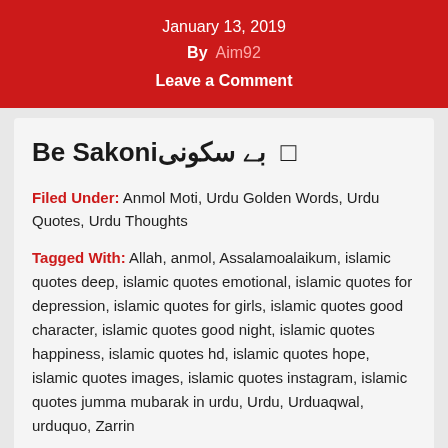January 13, 2019
By  Aim92
Leave a Comment
Be Sakoni بے سکونی
Filed Under: Anmol Moti, Urdu Golden Words, Urdu Quotes, Urdu Thoughts
Tagged With: Allah, anmol, Assalamoalaikum, islamic quotes deep, islamic quotes emotional, islamic quotes for depression, islamic quotes for girls, islamic quotes good character, islamic quotes good night, islamic quotes happiness, islamic quotes hd, islamic quotes hope, islamic quotes images, islamic quotes instagram, islamic quotes jumma mubarak in urdu, Urdu, Urduaqwal, urduquo, Zarrin